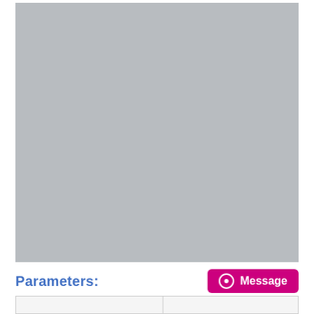[Figure (other): Large gray rectangular placeholder image area]
Parameters:
[Figure (other): Message button with pink/magenta background]
|  |  |